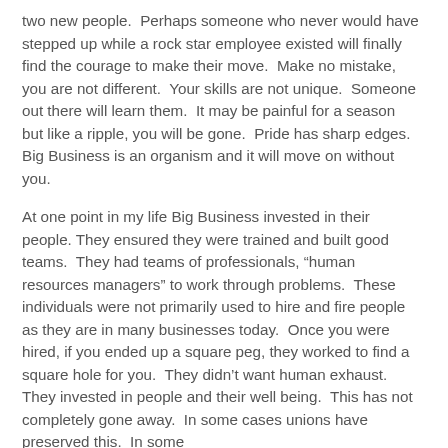two new people.  Perhaps someone who never would have stepped up while a rock star employee existed will finally find the courage to make their move.  Make no mistake, you are not different.  Your skills are not unique.  Someone out there will learn them.  It may be painful for a season but like a ripple, you will be gone.  Pride has sharp edges.  Big Business is an organism and it will move on without you.
At one point in my life Big Business invested in their people. They ensured they were trained and built good teams.  They had teams of professionals, “human resources managers” to work through problems.  These individuals were not primarily used to hire and fire people as they are in many businesses today.  Once you were hired, if you ended up a square peg, they worked to find a square hole for you.  They didn’t want human exhaust.  They invested in people and their well being.  This has not completely gone away.  In some cases unions have preserved this.  In some